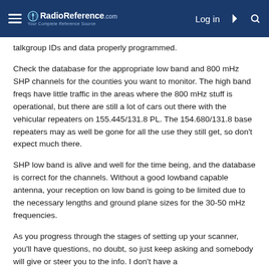RadioReference.com — Log in
talkgroup IDs and data properly programmed.
Check the database for the appropriate low band and 800 mHz SHP channels for the counties you want to monitor. The high band freqs have little traffic in the areas where the 800 mHz stuff is operational, but there are still a lot of cars out there with the vehicular repeaters on 155.445/131.8 PL. The 154.680/131.8 base repeaters may as well be gone for all the use they still get, so don't expect much there.
SHP low band is alive and well for the time being, and the database is correct for the channels. Without a good lowband capable antenna, your reception on low band is going to be limited due to the necessary lengths and ground plane sizes for the 30-50 mHz frequencies.
As you progress through the stages of setting up your scanner, you'll have questions, no doubt, so just keep asking and somebody will give or steer you to the info. I don't have a